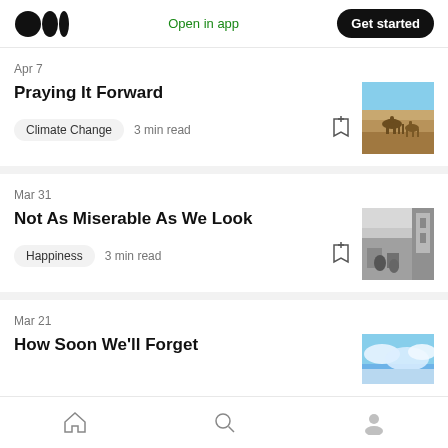Medium logo | Open in app | Get started
Apr 7
Praying It Forward
Climate Change  3 min read
[Figure (photo): Desert scene with camels in arid landscape under blue sky]
Mar 31
Not As Miserable As We Look
Happiness  3 min read
[Figure (photo): Black and white photo of people in an urban scene]
Mar 21
How Soon We'll Forget
[Figure (photo): Blue sky with clouds]
Home | Search | Profile